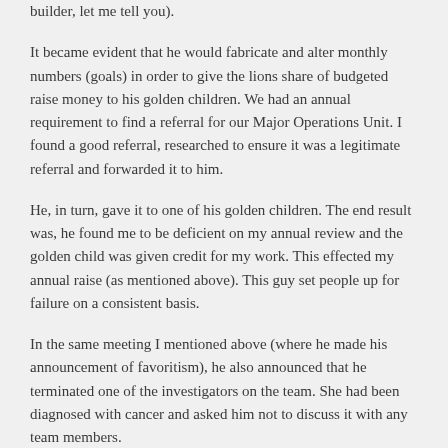builder, let me tell you).
It became evident that he would fabricate and alter monthly numbers (goals) in order to give the lions share of budgeted raise money to his golden children. We had an annual requirement to find a referral for our Major Operations Unit. I found a good referral, researched to ensure it was a legitimate referral and forwarded it to him.
He, in turn, gave it to one of his golden children. The end result was, he found me to be deficient on my annual review and the golden child was given credit for my work. This effected my annual raise (as mentioned above). This guy set people up for failure on a consistent basis.
In the same meeting I mentioned above (where he made his announcement of favoritism), he also announced that he terminated one of the investigators on the team. She had been diagnosed with cancer and asked him not to discuss it with any team members.
Of course, being the absolute scumbag moron that he is, he made announcement about it in a previous meeting (So much for HIPPA laws). Anyway, he announced that he terminated her. He then proceeded to tell the entire team: '(Insert Name Here) is going to be hurting for money now that I fired her, she won't even be able to